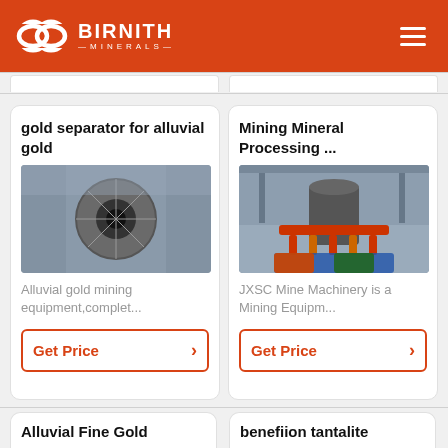BIRNITH MINERALS
gold separator for alluvial gold
[Figure (photo): Close-up of a gold separator drum/disc machine in a warehouse setting]
Alluvial gold mining equipment,complet...
Get Price
Mining Mineral Processing ...
[Figure (photo): Industrial mineral processing machine in a factory with colorful base]
JXSC Mine Machinery is a Mining Equipm...
Get Price
Alluvial Fine Gold
benefiion tantalite